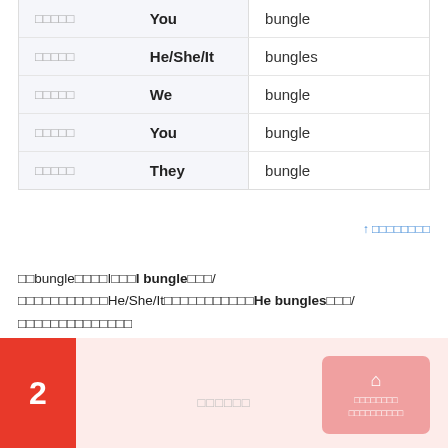|  |  |  |
| --- | --- | --- |
| □□□□□ | You | bungle |
| □□□□□ | He/She/It | bungles |
| □□□□□ | We | bungle |
| □□□□□ | You | bungle |
| □□□□□ | They | bungle |
↑ □□□□□□□□
□□bungle□□□□I□□□I bungle□□□/□□□□□□□□□□□He/She/It□□□□□□□□□□□He bungles□□□/□□□□□□□□□□□□□□
2  □□□□□□